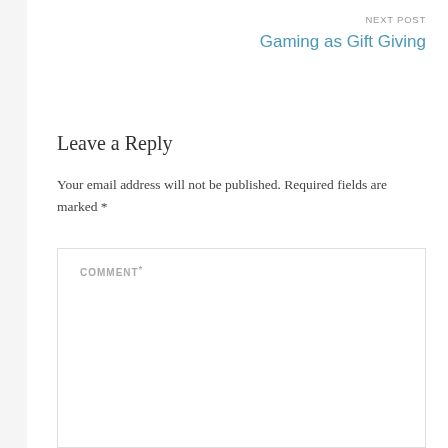NEXT POST
Gaming as Gift Giving
Leave a Reply
Your email address will not be published. Required fields are marked *
COMMENT *